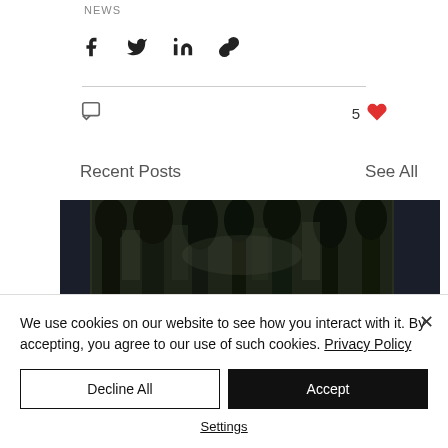NEWS
[Figure (screenshot): Social share buttons: Facebook, Twitter, LinkedIn, and link icons]
[Figure (screenshot): Comment icon and likes count: 5 with heart icon]
Recent Posts
See All
[Figure (photo): Dark trees photograph used as a post thumbnail in recent posts strip]
We use cookies on our website to see how you interact with it. By accepting, you agree to our use of such cookies. Privacy Policy
Decline All
Accept
Settings